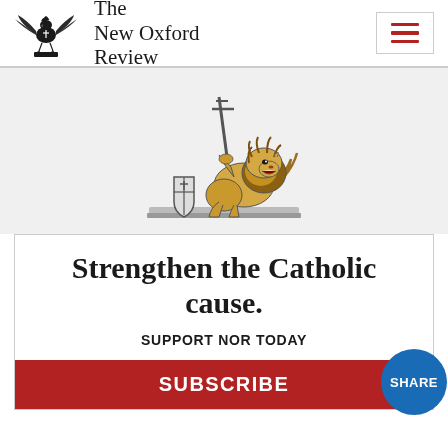[Figure (logo): The New Oxford Review masthead with eagle/phoenix heraldic logo on the left and publication name 'The New Oxford Review' in serif text, plus hamburger menu icon on the right]
[Figure (illustration): Heraldic lion rampant holding a cross/staff, with a shield bearing a cross at its feet, rendered in black-and-white engraving style — logo of the New Oxford Review]
Strengthen the Catholic cause.
SUPPORT NOR TODAY
SUBSCRIBE